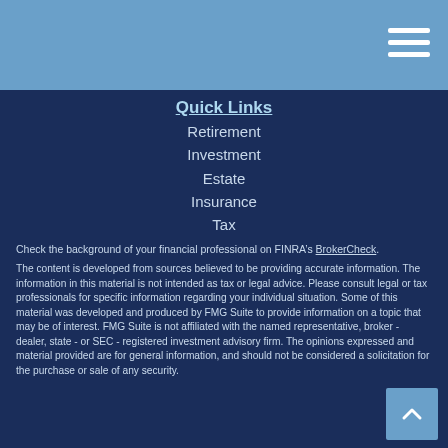Quick Links
Retirement
Investment
Estate
Insurance
Tax
Money
Lifestyle
All Articles
All Videos
All Calculators
All Presentations
Check the background of your financial professional on FINRA’s BrokerCheck.
The content is developed from sources believed to be providing accurate information. The information in this material is not intended as tax or legal advice. Please consult legal or tax professionals for specific information regarding your individual situation. Some of this material was developed and produced by FMG Suite to provide information on a topic that may be of interest. FMG Suite is not affiliated with the named representative, broker - dealer, state - or SEC - registered investment advisory firm. The opinions expressed and material provided are for general information, and should not be considered a solicitation for the purchase or sale of any security.